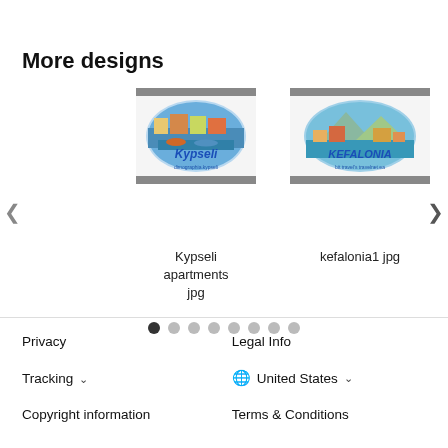More designs
[Figure (illustration): Carousel of design thumbnails showing Kypseli apartments jpg and kefalonia1 jpg sticker designs with navigation arrows and pagination dots]
Kypseli apartments jpg
kefalonia1 jpg
Privacy   Legal Info   Tracking ∨   🌐 United States ∨   Copyright information   Terms & Conditions